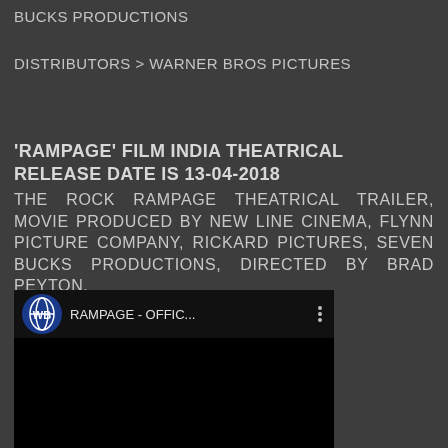BUCKS PRODUCTIONS
DISTRIBUTORS > WARNER BROS PICTURES
'RAMPAGE' FILM INDIA THEATRICAL RELEASE DATE IS 13-04-2018
THE ROCK RAMPAGE THEATRICAL TRAILER, MOVIE PRODUCED BY NEW LINE CINEMA, FLYNN PICTURE COMPANY, RICKARD PICTURES, SEVEN BUCKS PRODUCTIONS, DIRECTED BY BRAD PEYTON.
[Figure (screenshot): YouTube video thumbnail showing Warner Bros logo and title 'RAMPAGE - OFFIC...' with three-dot menu icon, video area is black]